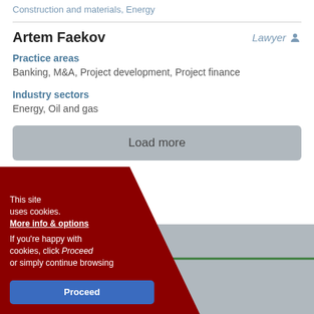Construction and materials, Energy
Artem Faekov
Lawyer
Practice areas
Banking, M&A, Project development, Project finance
Industry sectors
Energy, Oil and gas
Load more
Asia-Pacific > EMEA > News & Features
Advertising Terms & Conditions
This site uses cookies. More info & options
If you're happy with cookies, click Proceed or simply continue browsing
Proceed